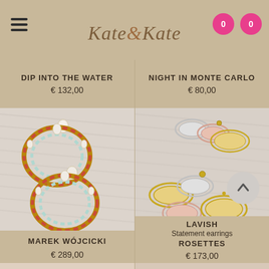Kate&Kate
DIP INTO THE WATER
€ 132,00
NIGHT IN MONTE CARLO
€ 80,00
[Figure (photo): Hoop earrings with red and turquoise stones by Marek Wójcicki]
MAREK WÓJCICKI
€ 289,00
[Figure (photo): Lavish statement earrings rosettes in gold, rose gold, and silver tones]
LAVISH
Statement earrings
ROSETTES
€ 173,00